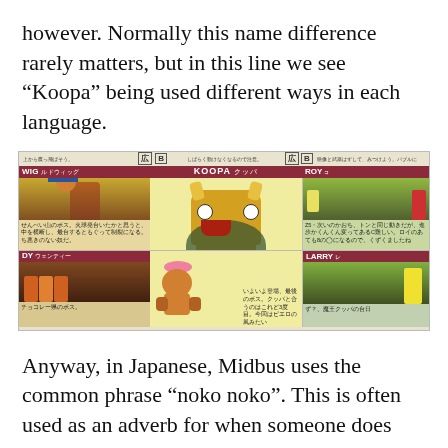however. Normally this name difference rarely matters, but in this line we see “Koopa” being used different ways in each language.
[Figure (photo): A scanned page from a Japanese video game guide/magazine showing characters from Super Mario, including Bowser (labeled KOOPA クッパ), WIG ルドウィッグ, and other Koopalings, with Japanese text descriptions and gameplay screenshots.]
Anyway, in Japanese, Midbus uses the common phrase “noko noko”. This is often used as an adverb for when someone does something nonchalantly, carelessly, or brazenly – I often see